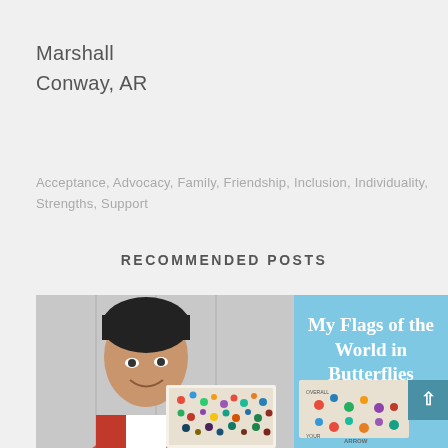Marshall
Conway, AR
Acceptance, Advocacy, Family, Friendship, Inclusion, Individuality, Strengths, Support
RECOMMENDED POSTS
[Figure (photo): A smiling child holding up a colorful butterfly flag board. On the right side is a light blue panel with white bold text reading 'My Flags of the World in Butterflies', with another smaller image of the artwork. A teal scroll-to-top button is visible on the right edge.]